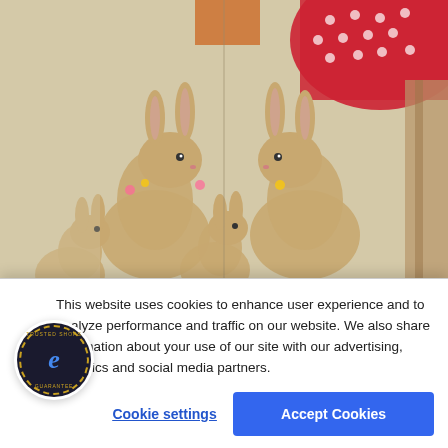[Figure (photo): Photo of Easter/spring themed fabric or bedding with repeating bunny rabbit prints on a cream/beige background. Upper portion shows colorful fabric items including red dotted fabric and orange/brown elements. The fabric appears folded or layered showing multiple panels side by side.]
This website uses cookies to enhance user experience and to analyze performance and traffic on our website. We also share information about your use of our site with our advertising, analytics and social media partners.
[Figure (logo): Trusted Shops Guarantee badge — circular dark badge with dashed gold ring, stylized italic blue 'e' in center, text 'TRUSTED SHOPS' at top and 'GUARANTEE' at bottom in gold.]
Cookie settings
Accept Cookies